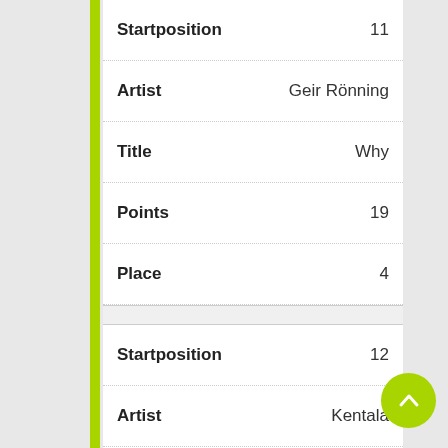| Field | Value |
| --- | --- |
| Startposition | 11 |
| Artist | Geir Rönning |
| Title | Why |
| Points | 19 |
| Place | 4 |
| Startposition | 12 |
| Artist | Kentala |
| Title | Deck Of Cards |
| Points | 38 |
| Place | 1 |